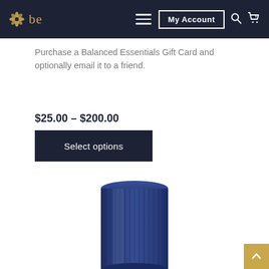be — My Account
Purchase a Balanced Essentials Gift Card and optionally email it to a friend.
$25.00 – $200.00
Select options
[Figure (photo): Blue ribbed cylindrical product (candle or container) viewed from above, partially cropped at bottom of page]